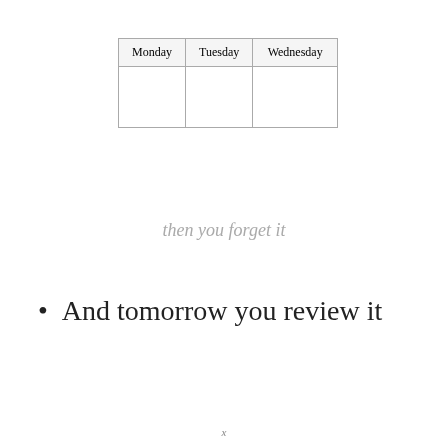| Monday | Tuesday | Wednesday |
| --- | --- | --- |
|  |  |  |
then you forget it
And tomorrow you review it
x